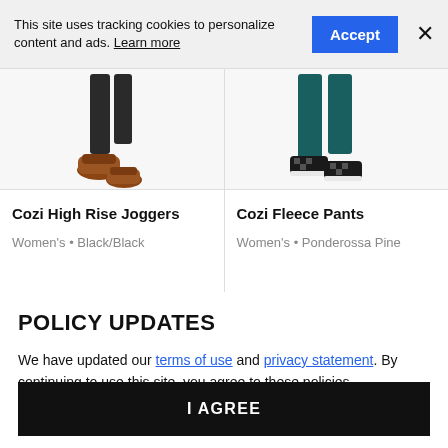This site uses tracking cookies to personalize content and ads. Learn more
Accept
×
[Figure (photo): Lower legs and feet wearing black joggers and brown slip-on shoes]
Cozi High Rise Joggers
Women's • Black/Black
[Figure (photo): Lower legs and feet wearing teal/dark green fleece pants and black and white Vans sneakers]
Cozi Fleece Pants
Women's • Ponderossa Pine
POLICY UPDATES
We have updated our terms of use and privacy statement. By continuing to use this site, you agree to these policies.
I AGREE